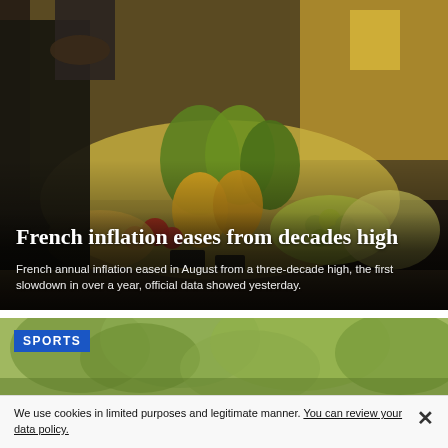[Figure (photo): A market fruit and vegetable stand with pineapples, grapes, apples and other produce displayed. A person in a dark jacket reaches toward the stand. Dark, moody lighting.]
French inflation eases from decades high
French annual inflation eased in August from a three-decade high, the first slowdown in over a year, official data showed yesterday.
[Figure (photo): Partial photo showing trees with green foliage, labeled with SPORTS category badge.]
SPORTS
We use cookies in limited purposes and legitimate manner. You can review your data policy.